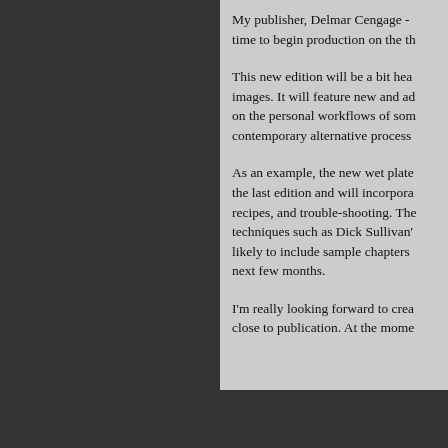My publisher, Delmar Cengage - time to begin production on the th
This new edition will be a bit hea images. It will feature new and ad on the personal workflows of som contemporary alternative process
As an example, the new wet plate the last edition and will incorpora recipes, and trouble-shooting. The techniques such as Dick Sullivan' likely to include sample chapters next few months.
I'm really looking forward to crea close to publication. At the mome